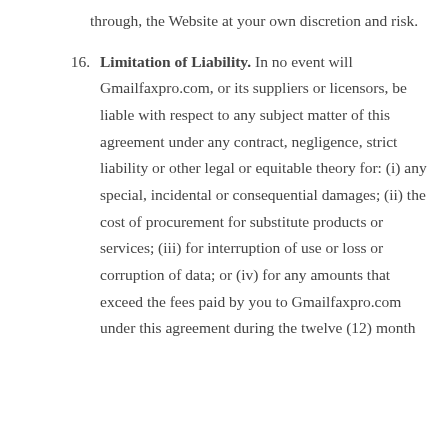through, the Website at your own discretion and risk.
16. Limitation of Liability. In no event will Gmailfaxpro.com, or its suppliers or licensors, be liable with respect to any subject matter of this agreement under any contract, negligence, strict liability or other legal or equitable theory for: (i) any special, incidental or consequential damages; (ii) the cost of procurement for substitute products or services; (iii) for interruption of use or loss or corruption of data; or (iv) for any amounts that exceed the fees paid by you to Gmailfaxpro.com under this agreement during the twelve (12) month